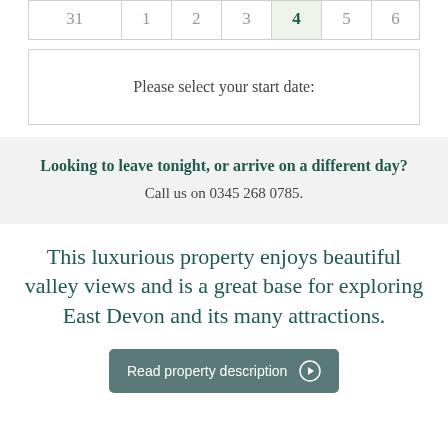| 31 | 1 | 2 | 3 | 4 | 5 | 6 |
| --- | --- | --- | --- | --- | --- | --- |
Please select your start date:
Looking to leave tonight, or arrive on a different day?
Call us on 0345 268 0785.
This luxurious property enjoys beautiful valley views and is a great base for exploring East Devon and its many attractions.
Read property description